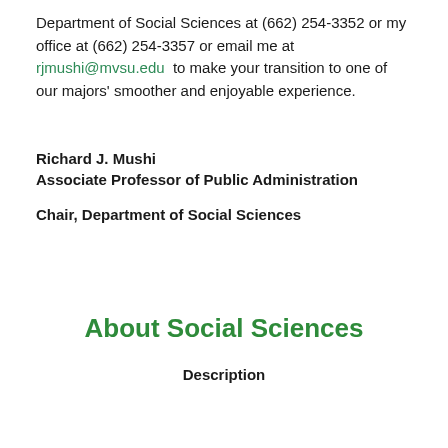Department of Social Sciences at (662) 254-3352 or my office at (662) 254-3357 or email me at rjmushi@mvsu.edu to make your transition to one of our majors' smoother and enjoyable experience.
Richard J. Mushi
Associate Professor of Public Administration
Chair, Department of Social Sciences
About Social Sciences
Description